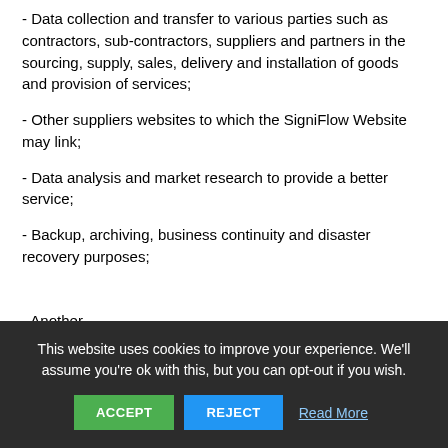- Data collection and transfer to various parties such as contractors, sub-contractors, suppliers and partners in the sourcing, supply, sales, delivery and installation of goods and provision of services;
- Other suppliers websites to which the SigniFlow Website may link;
- Data analysis and market research to provide a better service;
- Backup, archiving, business continuity and disaster recovery purposes;
- [partial text continues below cookie banner]
This website uses cookies to improve your experience. We'll assume you're ok with this, but you can opt-out if you wish.
ACCEPT | REJECT | Read More